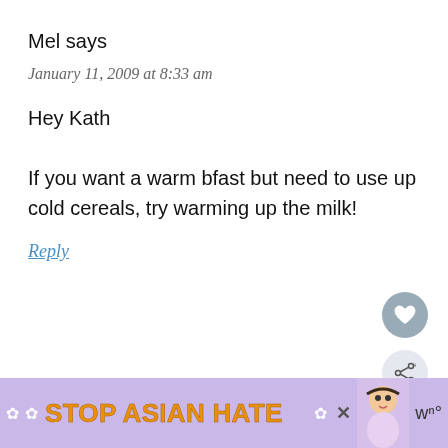Mel says
January 11, 2009 at 8:33 am
Hey Kath
If you want a warm bfast but need to use up cold cereals, try warming up the milk!
Reply
Kath says
January 11, 2009 at 8:56 am
[Figure (screenshot): WHAT'S NEXT banner with Cleaning Out The Fridge link and circular thumbnail image]
[Figure (screenshot): STOP ASIAN HATE advertisement banner with purple background, orange bold text, white flower decorations, and anime character]